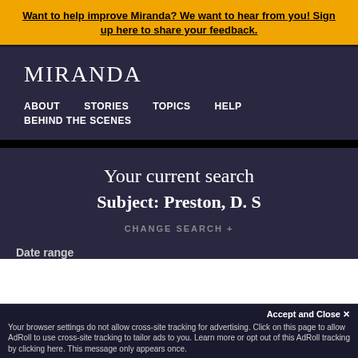Want to help improve Miranda? We want to hear from you! Sign up here to share your feedback.
MIRANDA
ABOUT
STORIES
TOPICS
HELP
BEHIND THE SCENES
Your current search
Subject: Preston, D. S
CHANGE SEARCH +
Date range
Accept and Close ✕
Your browser settings do not allow cross-site tracking for advertising. Click on this page to allow AdRoll to use cross-site tracking to tailor ads to you. Learn more or opt out of this AdRoll tracking by clicking here. This message only appears once.